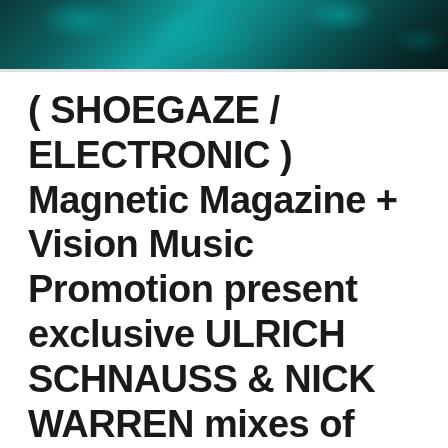[Figure (photo): Cropped photo showing teal/cyan colored textured background, appears to be hair or fabric with blue-green iridescent tones]
( SHOEGAZE / ELECTRONIC ) Magnetic Magazine + Vision Music Promotion present exclusive ULRICH SCHNAUSS & NICK WARREN mixes of PROJECT SKYWARD Concept from SACHA S...